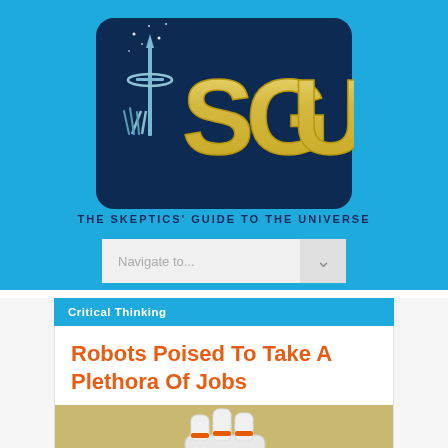[Figure (logo): SGU - The Skeptics' Guide to the Universe logo on blue background with stylized rocket/antenna graphic and large bold SGU letters in gold]
Navigate to...
Critical Thinking
Robots Poised To Take A Plethora Of Jobs
[Figure (photo): Robot hand/arm with white and orange segments on a sandy/gold background, partially cropped at bottom]